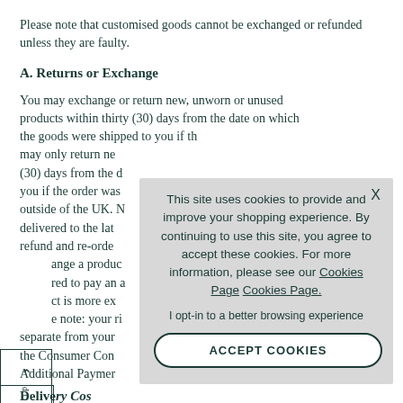Please note that customised goods cannot be exchanged or refunded unless they are faulty.
A. Returns or Exchange
You may exchange or return new, unworn or unused products within thirty (30) days from the date on which the goods were shipped to you if th... may only return ne... (30) days from the d... you if the order was... outside of the UK. N... delivered to the lat... refund and re-orde... ange a produc... red to pay an a... ct is more ex... e note: your ri... separate from your... the Consumer Con... Additional Paymer...
[Figure (other): Cookie consent popup overlay with close button (X), message about site cookies, opt-in text, and ACCEPT COOKIES button]
separate from your... the Consumer Con... Additional Paymer...
Delivery Costs...